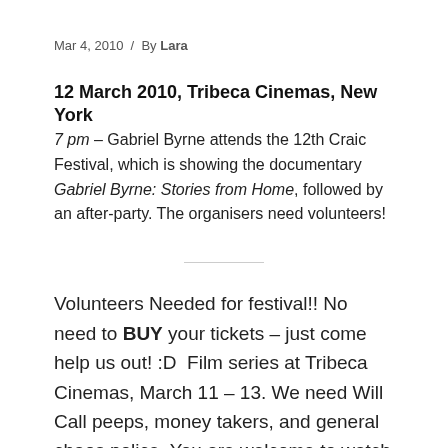Mar 4, 2010 / By Lara
12 March 2010, Tribeca Cinemas, New York
7 pm – Gabriel Byrne attends the 12th Craic Festival, which is showing the documentary Gabriel Byrne: Stories from Home, followed by an after-party. The organisers need volunteers!
Volunteers Needed for festival!! No need to BUY your tickets – just come help us out! :D  Film series at Tribeca Cinemas, March 11 – 13. We need Will Call peeps, money takers, and general chaos police. You are welcome to watch the film and attend the